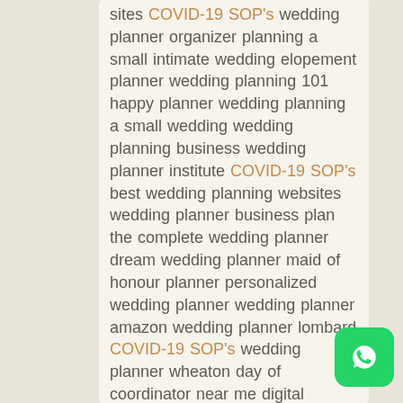sites COVID-19 SOP's wedding planner organizer planning a small intimate wedding elopement planner wedding planning 101 happy planner wedding planning a small wedding wedding planning business wedding planner institute COVID-19 SOP's best wedding planning websites wedding planner business plan the complete wedding planner dream wedding planner maid of honour planner personalized wedding planner wedding planner amazon wedding planner lombard COVID-19 SOP's wedding planner wheaton day of coordinator near me digital wedding planner day of wedding coordinator near me top wedding planners bridesmaid planner planning a wedding in 6 months wedding day planner planning a backyard wedding COVID-19 SOP's proposal wedding organizer planning a wedding in 3 months wedding planner
[Figure (logo): WhatsApp green icon with white phone/speech bubble logo, rounded square shape]